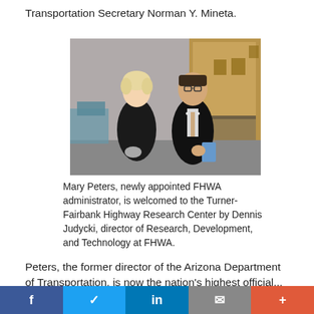Transportation Secretary Norman Y. Mineta.
[Figure (photo): Two people standing together indoors. A woman with light hair in a black outfit holds something, and a man in a dark suit with a tie holds a blue document. They appear to be in an institutional room.]
Mary Peters, newly appointed FHWA administrator, is welcomed to the Turner-Fairbank Highway Research Center by Dennis Judycki, director of Research, Development, and Technology at FHWA.
Peters, the former director of the Arizona Department of Transportation, is now the nation's highest official...